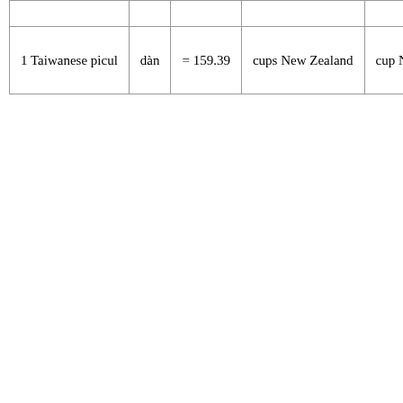|  |  |  |  |  |
| 1 Taiwanese picul | dàn | = 159.39 | cups New Zealand | cup NZ |